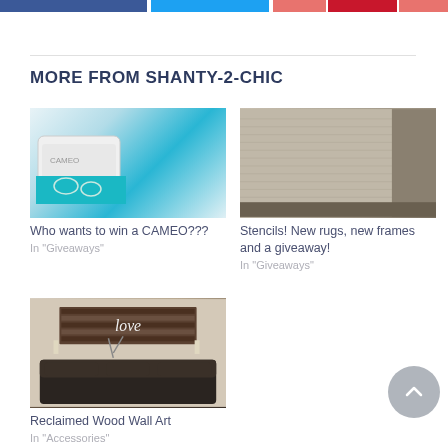[Figure (other): Social share buttons row: Facebook (blue), Twitter (cyan), Pinterest buttons (coral/red/coral)]
MORE FROM SHANTY-2-CHIC
[Figure (photo): Close-up of a Cameo cutting machine with teal decorative paper]
Who wants to win a CAMEO???
In "Giveaways"
[Figure (photo): Close-up of a textured beige/tan rug corner]
Stencils! New rugs, new frames and a giveaway!
In "Giveaways"
[Figure (photo): Living room with dark leather sofa and 'love' wall sign on reclaimed wood]
Reclaimed Wood Wall Art
In "Accessories"